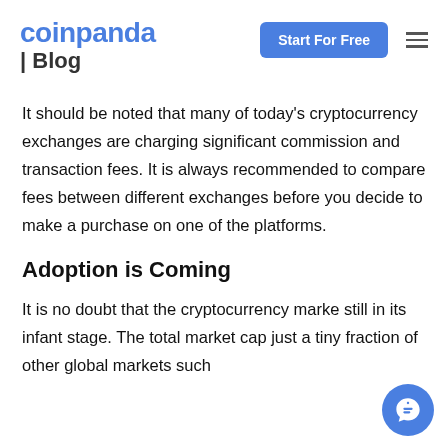coinpanda | Blog
It should be noted that many of today's cryptocurrency exchanges are charging significant commission and transaction fees. It is always recommended to compare fees between different exchanges before you decide to make a purchase on one of the platforms.
Adoption is Coming
It is no doubt that the cryptocurrency marke still in its infant stage. The total market cap just a tiny fraction of other global markets such